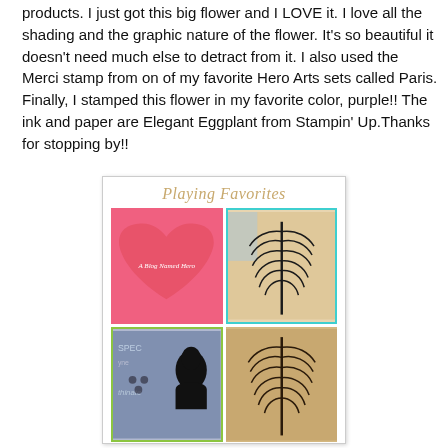products. I just got this big flower and I LOVE it. I love all the shading and the graphic nature of the flower. It's so beautiful it doesn't need much else to detract from it. I also used the Merci stamp from on of my favorite Hero Arts sets called Paris. Finally, I stamped this flower in my favorite color, purple!! The ink and paper are Elegant Eggplant from Stampin' Up.Thanks for stopping by!!
[Figure (illustration): A decorative blog graphic titled 'Playing Favorites' with subtitle 'A Blog Named Hero'. Contains a pink heart shape with text 'A Blog Named Hero', two photos of fern leaf stamps (one with cyan border, one plain), and a bottom-left image showing silhouette and text stamps. Bottom text reads 'Create a project using your favorite Hero Arts products!']